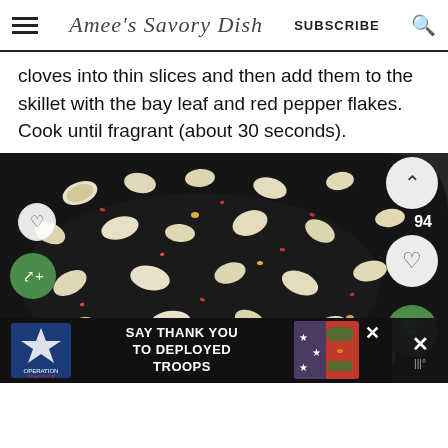Amee's Savory Dish  SUBSCRIBE
cloves into thin slices and then add them to the skillet with the bay leaf and red pepper flakes. Cook until fragrant (about 30 seconds).
[Figure (photo): Overhead view of sliced garlic cloves and red pepper flakes cooking in a dark cast iron skillet with oil]
SAY THANK YOU TO DEPLOYED TROOPS